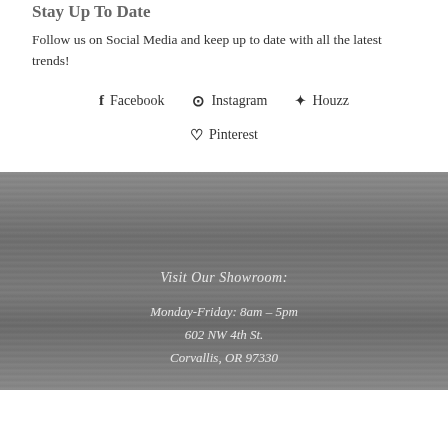Stay Up To Date
Follow us on Social Media and keep up to date with all the latest trends!
Facebook  Instagram  Houzz  Pinterest
Visit Our Showroom:
Monday-Friday: 8am – 5pm
602 NW 4th St.
Corvallis, OR 97330